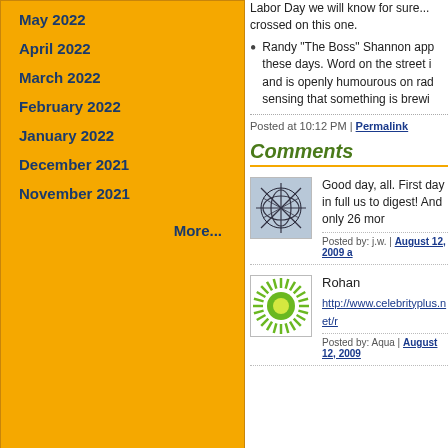May 2022
April 2022
March 2022
February 2022
January 2022
December 2021
November 2021
More...
Labor Day we will know for sure... crossed on this one.
Randy "The Boss" Shannon app these days. Word on the street i and is openly humourous on rad sensing that something is brewi
Posted at 10:12 PM | Permalink
Comments
[Figure (illustration): Abstract web/network pattern avatar image with blue lines on grey background]
Good day, all. First day in full us to digest! And only 26 mor
Posted by: j.w. | August 12, 2009 a
[Figure (illustration): Sunburst/radial pattern avatar with green rays and yellow-green center circle]
Rohan
http://www.celebrityplus.net/r
Posted by: Aqua | August 12, 2009